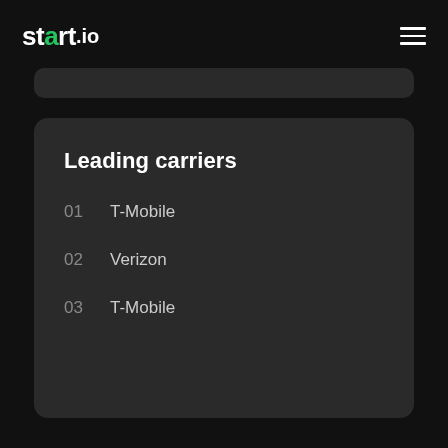start.io
Leading carriers
01   T-Mobile
02   Verizon
03   T-Mobile